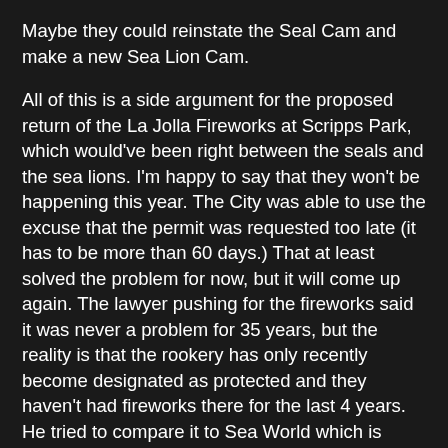Maybe they could reinstate the Seal Cam and make a new Sea Lion Cam.
All of this is a side argument for the proposed return of the La Jolla Fireworks at Scripps Park, which would've been right between the seals and the sea lions. I'm happy to say that they won't be happening this year. The City was able to use the excuse that the permit was requested too late (it has to be more than 60 days.) That at least solved the problem for now, but it will come up again. The lawyer pushing for the fireworks said it was never a problem for 35 years, but the reality is that the rookery has only recently become designated as protected and they haven't had fireworks there for the last 4 years. He tried to compare it to Sea World which is completely absurd, because wild animals getting flushed and moms getting separated from their pups can't happen to the animals in captivity, though plenty of us would be just fine if Sea World stopped fireworks altogether, too, if that's what he was fighting for.
And speaking of Sea World, we were sitting around the house and Nova asked if we wanted to go back. She wanted